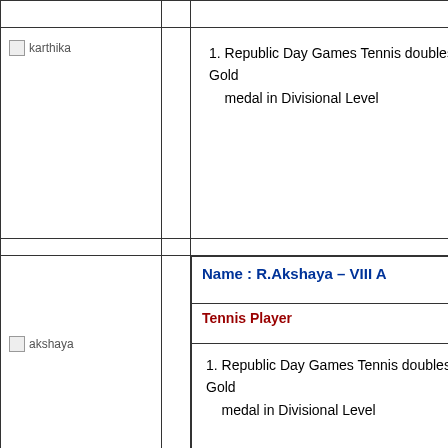[Figure (photo): Photo placeholder for karthika]
1. Republic Day Games Tennis doubles Gold medal in Divisional Level
[Figure (photo): Photo placeholder for akshaya]
Name : R.Akshaya – VIII A
Tennis Player
1. Republic Day Games Tennis doubles Gold medal in Divisional Level